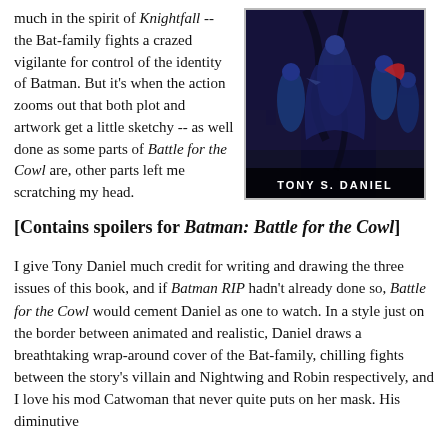much in the spirit of Knightfall -- the Bat-family fights a crazed vigilante for control of the identity of Batman. But it's when the action zooms out that both plot and artwork get a little sketchy -- as well done as some parts of Battle for the Cowl are, other parts left me scratching my head.
[Figure (photo): Comic book cover of Batman: Battle for the Cowl by Tony S. Daniel, showing the Bat-family characters in dark blue tones against a city backdrop, with 'TONY S. DANIEL' text at the bottom.]
[Contains spoilers for Batman: Battle for the Cowl]
I give Tony Daniel much credit for writing and drawing the three issues of this book, and if Batman RIP hadn't already done so, Battle for the Cowl would cement Daniel as one to watch. In a style just on the border between animated and realistic, Daniel draws a breathtaking wrap-around cover of the Bat-family, chilling fights between the story's villain and Nightwing and Robin respectively, and I love his mod Catwoman that never quite puts on her mask. His diminutive